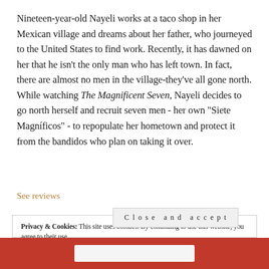Nineteen-year-old Nayeli works at a taco shop in her Mexican village and dreams about her father, who journeyed to the United States to find work. Recently, it has dawned on her that he isn't the only man who has left town. In fact, there are almost no men in the village-they've all gone north. While watching The Magnificent Seven, Nayeli decides to go north herself and recruit seven men - her own "Siete Magníficos" - to repopulate her hometown and protect it from the bandidos who plan on taking it over.
See reviews
Privacy & Cookies: This site uses cookies. By continuing to use this website, you agree to their use. To find out more, including how to control cookies, see here: Cookie Policy
Close and accept